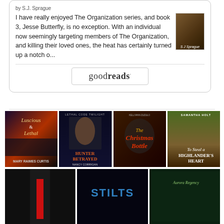by S.J. Sprague
I have really enjoyed The Organization series, and book 3, Jesse Butterfly, is no exception. With an individual now seemingly targeting members of The Organization, and killing their loved ones, the heat has certainly turned up a notch o...
[Figure (logo): Goodreads widget button with border]
[Figure (photo): Grid of book covers: Luscious & Lethal by Mary Raimes Curtis, Hunter Betrayed by Nancy Corrigan, The Christmas Bottle by Kellyann Zuzulo, Highlander's Heart by Samantha Holt, and three more partially visible covers in the bottom row including Stilts and Aurora Regency]
goodreads